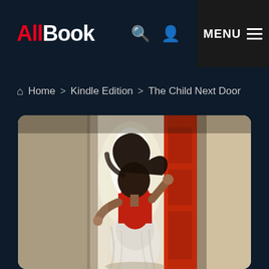AllBook — MENU navigation bar with search and user icons
Home > Kindle Edition > The Child Next Door
[Figure (photo): Book cover photo: a woman in a red top and white skirt standing in a doorway with a red door, back to camera, hair flowing, dramatic lighting from behind the door.]